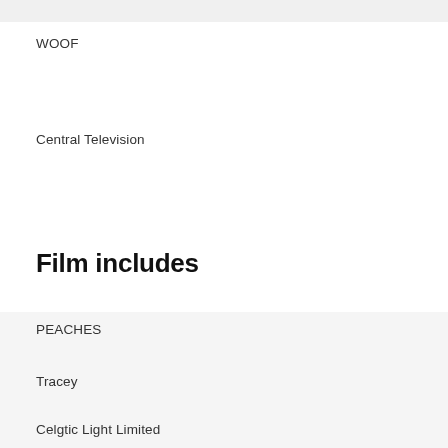WOOF
Central Television
Film includes
PEACHES
Tracey
Celgtic Light Limited